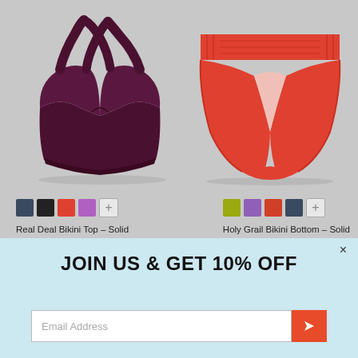[Figure (photo): Dark maroon/burgundy women's bikini top with cross-back straps, product photo on gray background]
[Figure (photo): Red/coral women's bikini bottom with ruched waistband, product photo on gray background]
Real Deal Bikini Top - Solid
Holy Grail Bikini Bottom - Solid
JOIN US & GET 10% OFF
Email Address